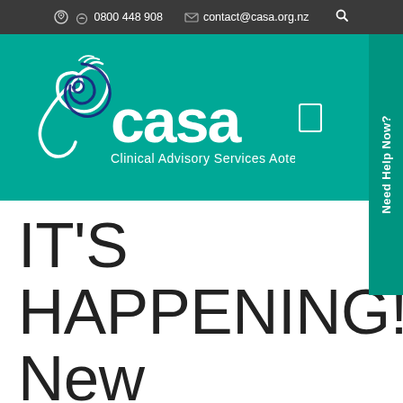0800 448 908   contact@casa.org.nz
[Figure (logo): CASA - Clinical Advisory Services Aotearoa logo on teal background with decorative koru/maori design element in white and dark blue]
IT'S HAPPENING!! New national free counselling